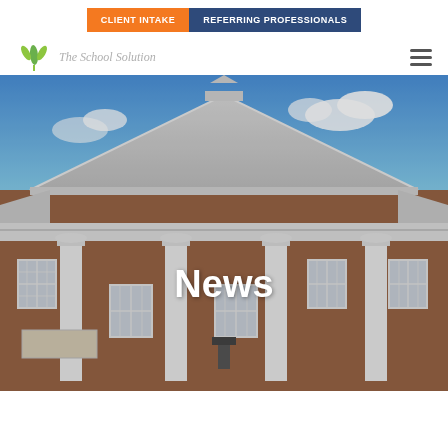CLIENT INTAKE | REFERRING PROFESSIONALS
[Figure (logo): The School Solution logo with green leaf icon and italic gray text]
[Figure (photo): Photograph of a brick school building with white columns and triangular pediment roof, blue sky with clouds, overlaid with the word News in white bold text]